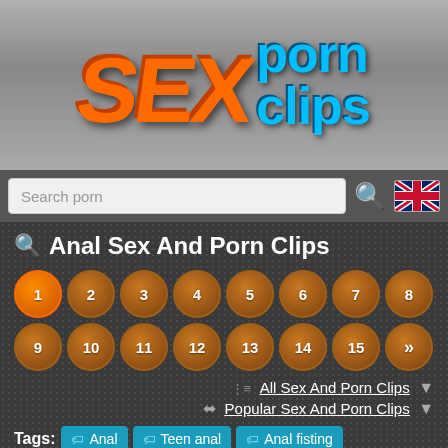[Figure (logo): SEX Porn Clips website logo with orange SEX text and blue porn clips text on gray background]
Search porn
Anal Sex And Porn Clips
Pagination: 1 2 3 4 5 6 7 8 9 10 11 12 13 14 15 »
All Sex And Porn Clips
Popular Sex And Porn Clips
Tags: Anal  Teen anal  Anal fisting  Mature anal  anal playing  turkish anal  French anal  Pooping anal  Arab anal